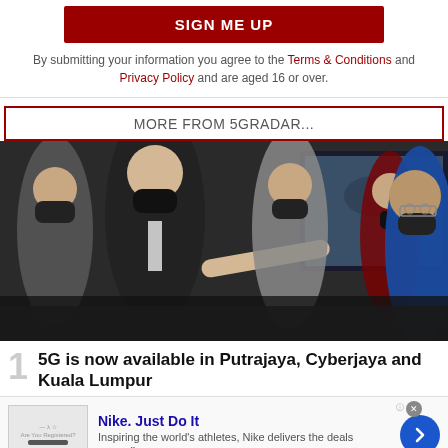[Figure (other): SIGN ME UP button — dark red/crimson background, white bold uppercase text]
By submitting your information you agree to the Terms & Conditions and Privacy Policy and are aged 16 or over.
MORE FROM 5GRADAR...
[Figure (photo): Group of people wearing face masks at a technology event, one man in a dark suit gesturing toward a large display screen, another man in blue shirt on right, photographers in background]
1  5G is now available in Putrajaya, Cyberjaya and Kuala Lumpur
[Figure (other): Nike advertisement banner: Nike. Just Do It — Inspiring the world's athletes, Nike delivers the deals — www.nike.com]